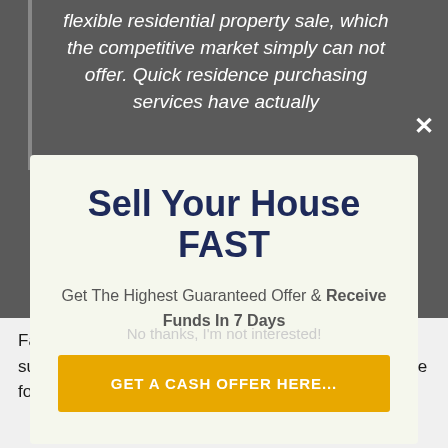flexible residential property sale, which the competitive market simply can not offer. Quick residence purchasing services have actually
Sell Your House FAST
Get The Highest Guaranteed Offer & Receive Funds In 7 Days
GET A CASH OFFER HERE...
No thanks, I'm not interested!
Fas home selling services like WeBuyAnyHome, supplies an assured as well as tension totally free sale for those that do not intend to experience the